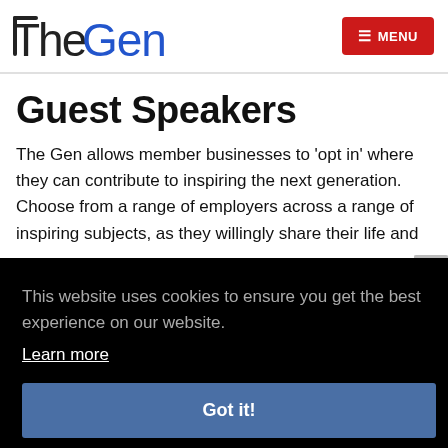TheGen | MENU
Guest Speakers
The Gen allows member businesses to 'opt in' where they can contribute to inspiring the next generation. Choose from a range of employers across a range of inspiring subjects, as they willingly share their life and
This website uses cookies to ensure you get the best experience on our website. Learn more
Got it!
Fi...